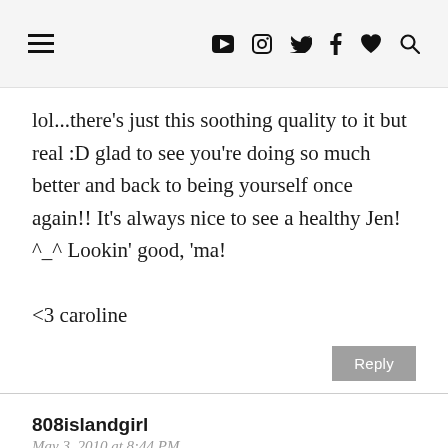≡ ▶ [instagram] [twitter] f ♥ [search]
lol...there's just this soothing quality to it but real :D glad to see you're doing so much better and back to being yourself once again!! It's always nice to see a healthy Jen! ^_^ Lookin' good, 'ma!

<3 caroline
Reply
808islandgirl
May 3, 2010 at 8:44 PM